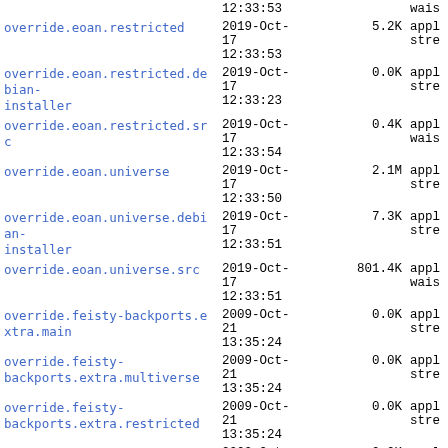| Name | Date | Size | Type |
| --- | --- | --- | --- |
|  | 12:33:53 |  | wais |
| override.eoan.restricted | 2019-Oct-17
12:33:53 | 5.2K | appl
stre |
| override.eoan.restricted.debian-installer | 2019-Oct-17
12:33:23 | 0.0K | appl
stre |
| override.eoan.restricted.src | 2019-Oct-17
12:33:54 | 0.4K | appl
wais |
| override.eoan.universe | 2019-Oct-17
12:33:50 | 2.1M | appl
stre |
| override.eoan.universe.debian-installer | 2019-Oct-17
12:33:51 | 7.3K | appl
stre |
| override.eoan.universe.src | 2019-Oct-17
12:33:51 | 801.4K | appl
wais |
| override.feisty-backports.extra.main | 2009-Oct-21
13:35:24 | 0.0K | appl
stre |
| override.feisty-backports.extra.multiverse | 2009-Oct-21
13:35:24 | 0.0K | appl
stre |
| override.feisty-backports.extra.restricted | 2009-Oct-21
13:35:24 | 0.0K | appl
stre |
| override.feisty-backports.extra.universe | 2009-Oct-21
13:35:24 | 0.0K | appl
stre |
|  | 2009-Oct- |  |  |